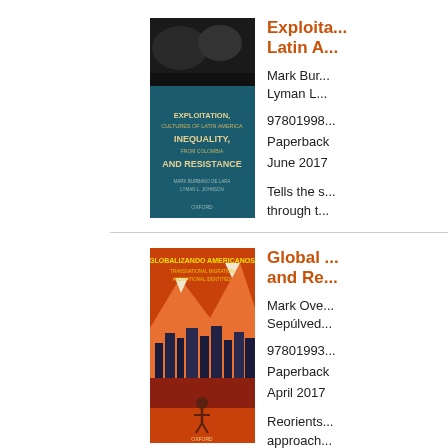[Figure (illustration): Book cover for Exploitation, Inequality, and Resistance in Latin America - dark image with mountain/mining scene and teal/blue book cover with title text]
Exploitation, Inequality, and Resistance in Latin America
Mark Bur... Lyman L...
97801998... Paperback June 2017
Tells the s... through t...
[Figure (illustration): Book cover for Global Latinos Americanos - orange/red cityscape with mountains, Oxford University Press]
Global ... and Re...
Mark Ove... Sepúlved...
97801993... Paperback April 2017
Reorients... approach... America t...